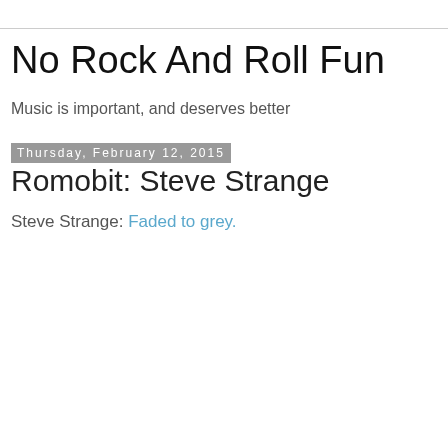No Rock And Roll Fun
Music is important, and deserves better
Thursday, February 12, 2015
Romobit: Steve Strange
Steve Strange: Faded to grey.